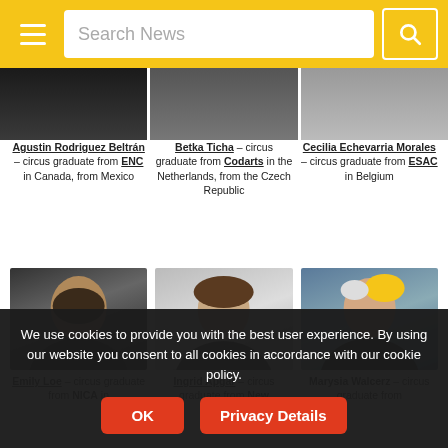Search News
Agustin Rodriguez Beltrán – circus graduate from ENC in Canada, from Mexico
Betka Ticha – circus graduate from Codarts in the Netherlands, from the Czech Republic
Cecilia Echevarria Morales – circus graduate from ESAC in Belgium
[Figure (photo): Portrait photo of Emily Loe]
[Figure (photo): Portrait photo of Ingrid Apgar]
[Figure (photo): Portrait photo of Marysia Walcerz]
Emily Loe – circus graduate from NICA in
Ingrid Apgar – circus graduate from New
Marysia Walcerz – circus graduate from
We use cookies to provide you with the best user experience. By using our website you consent to all cookies in accordance with our cookie policy.
OK
Privacy Details